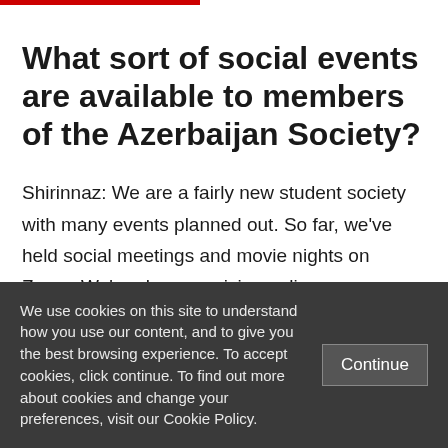What sort of social events are available to members of the Azerbaijan Society?
Shirinnaz: We are a fairly new student society with many events planned out. So far, we've held social meetings and movie nights on Zoom. We're also organising online
We use cookies on this site to understand how you use our content, and to give you the best browsing experience. To accept cookies, click continue. To find out more about cookies and change your preferences, visit our Cookie Policy.